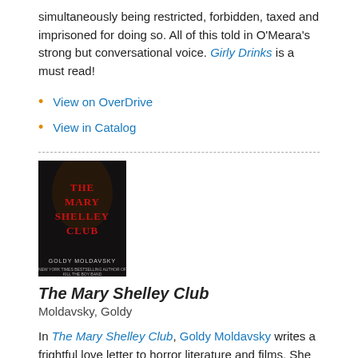simultaneously being restricted, forbidden, taxed and imprisoned for doing so. All of this told in O'Meara's strong but conversational voice. Girly Drinks is a must read!
View on OverDrive
View in Catalog
[Figure (photo): Book cover of The Mary Shelley Club by Goldy Moldavsky, dark background with red gothic text]
The Mary Shelley Club
Moldavsky, Goldy
In The Mary Shelley Club, Goldy Moldavsky writes a frightful love letter to horror literature and films. She does so with a cast of characters that reflect many of the regular horror topes and plot filled with twists, turns and surprises when the reader least expects them.